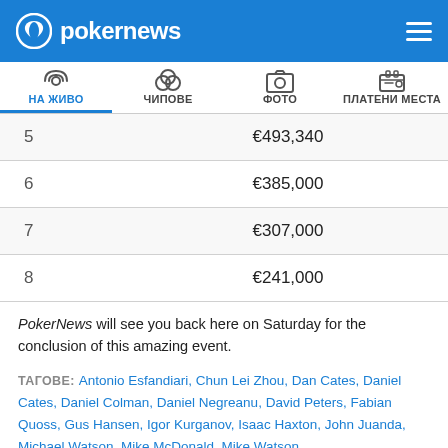pokernews
| Place | Prize |
| --- | --- |
| 5 | €493,340 |
| 6 | €385,000 |
| 7 | €307,000 |
| 8 | €241,000 |
PokerNews will see you back here on Saturday for the conclusion of this amazing event.
ТАГОВЕ: Antonio Esfandiari, Chun Lei Zhou, Dan Cates, Daniel Cates, Daniel Colman, Daniel Negreanu, David Peters, Fabian Quoss, Gus Hansen, Igor Kurganov, Isaac Haxton, John Juanda, Michael Watson, Mike McDonald, Mike Watson,